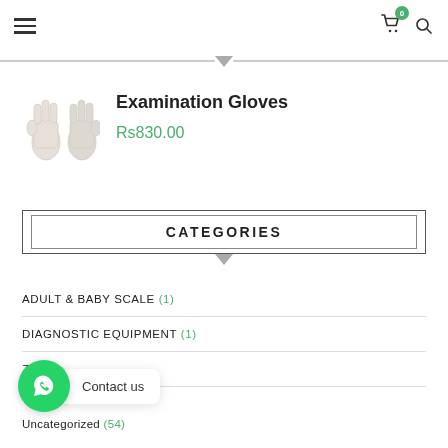Hamburger menu, cart (0), search icon
[Figure (illustration): White examination gloves image]
Examination Gloves
Rs830.00
CATEGORIES
ADULT & BABY SCALE (1)
DIAGNOSTIC EQUIPMENT (1)
Zippar
Uncategorized (54)
Contact us